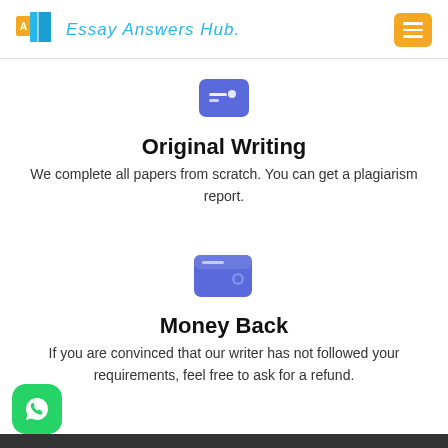Essay Answers Hub.
[Figure (illustration): Blue rounded square icon with horizontal lines (document/card icon) centered above Original Writing section]
Original Writing
We complete all papers from scratch. You can get a plagiarism report.
[Figure (illustration): Blue/indigo wallet icon centered above Money Back section]
Money Back
If you are convinced that our writer has not followed your requirements, feel free to ask for a refund.